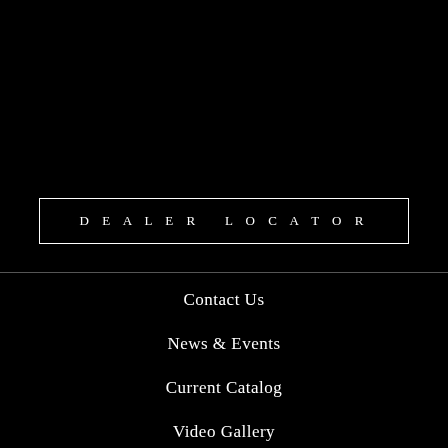DEALER LOCATOR
Contact Us
News & Events
Current Catalog
Video Gallery